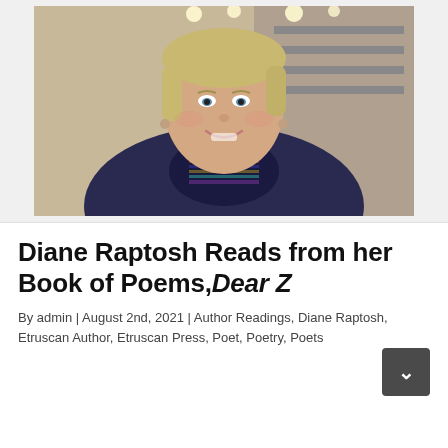[Figure (photo): Portrait photo of Diane Raptosh, a woman with short blonde-gray hair and bangs, smiling, wearing a colorful striped scarf and dark jacket, with a bookstore or shop background with lights.]
Diane Raptosh Reads from her Book of Poems,Dear Z
By admin | August 2nd, 2021 | Author Readings, Diane Raptosh, Etruscan Author, Etruscan Press, Poet, Poetry, Poets